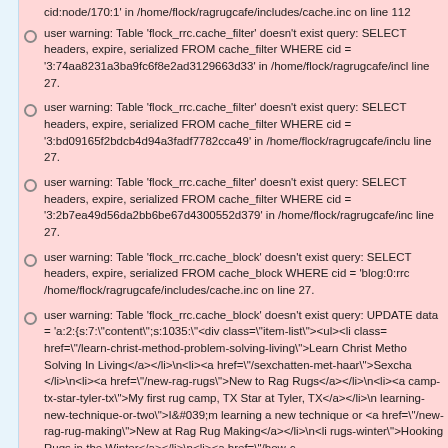cid:node/170:1' in /home/flock/ragrugcafe/includes/cache.inc on line 112
user warning: Table 'flock_rrc.cache_filter' doesn't exist query: SELECT headers, expire, serialized FROM cache_filter WHERE cid = '3:74aa8231a3ba9fc6f8e2ad3129663d33' in /home/flock/ragrugcafe/incl line 27.
user warning: Table 'flock_rrc.cache_filter' doesn't exist query: SELECT headers, expire, serialized FROM cache_filter WHERE cid = '3:bd09165f2bdcb4d94a3fadf7782cca49' in /home/flock/ragrugcafe/inclu line 27.
user warning: Table 'flock_rrc.cache_filter' doesn't exist query: SELECT headers, expire, serialized FROM cache_filter WHERE cid = '3:2b7ea49d56da2bb6be67d4300552d379' in /home/flock/ragrugcafe/inc line 27.
user warning: Table 'flock_rrc.cache_block' doesn't exist query: SELECT headers, expire, serialized FROM cache_block WHERE cid = 'blog:0:rrc /home/flock/ragrugcafe/includes/cache.inc on line 27.
user warning: Table 'flock_rrc.cache_block' doesn't exist query: UPDATE data = 'a:2:{s:7:"content";s:1035:"<div class="item-list"><ul><li class= href="/learn-christ-method-problem-solving-living">Learn Christ Metho Solving In Living</a></li>\n<li><a href="/sexchatten-met-haar">Sexcha </li>\n<li><a href="/new-rag-rugs">New to Rag Rugs</a></li>\n<li><a camp-tx-star-tyler-tx">My first rug camp, TX Star at Tyler, TX</a></li>\n learning-new-technique-or-two">I&#039;m learning a new technique or <a href="/new-rag-rug-making">New at Rag Rug Making</a></li>\n<li rugs-winter">Hooking Rugs in the Winter</a></li>\n<li><a href="/how-c